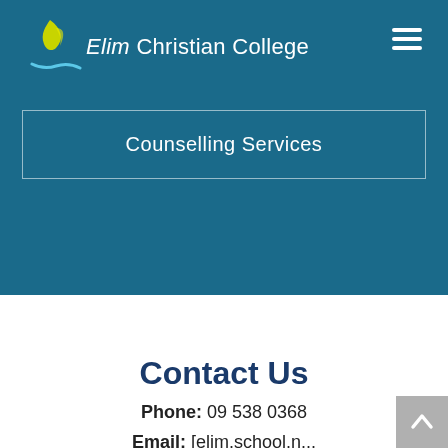[Figure (logo): Elim Christian College logo with yellow flame/leaf icon and white text on teal/dark blue background]
Counselling Services
Contact Us
Phone: 09 538 0368
Email: [partially visible]